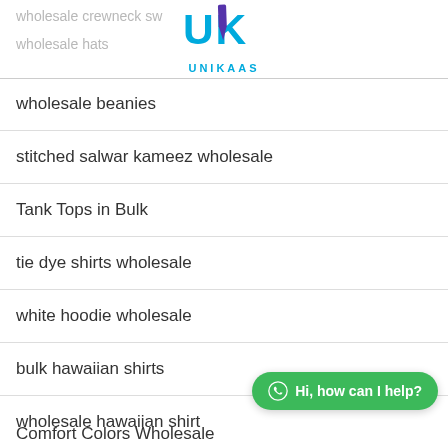wholesale crewneck sw...
[Figure (logo): UNIKAAS brand logo with blue letters and a tie graphic above the text UNIKAAS]
wholesale hats
wholesale beanies
stitched salwar kameez wholesale
Tank Tops in Bulk
tie dye shirts wholesale
white hoodie wholesale
bulk hawaiian shirts
wholesale hawaiian shirt
cheap hawaiian shirts
[Figure (other): Green WhatsApp chat button with text Hi, how can I help?]
Comfort Colors Wholesale